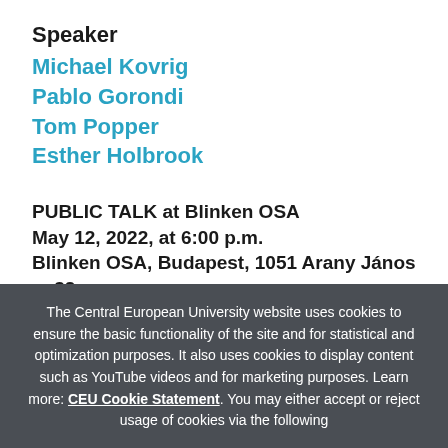Speaker
Michael Kovrig
Pablo Gorondi
Tom Popper
Esther Holbrook
PUBLIC TALK at Blinken OSA
May 12, 2022, at 6:00 p.m.
Blinken OSA, Budapest, 1051 Arany János u. 32.
The Budapest Week then and now
Public talk by the former editors Michael Kovrig,
The Central European University website uses cookies to ensure the basic functionality of the site and for statistical and optimization purposes. It also uses cookies to display content such as YouTube videos and for marketing purposes. Learn more: CEU Cookie Statement. You may either accept or reject usage of cookies via the following